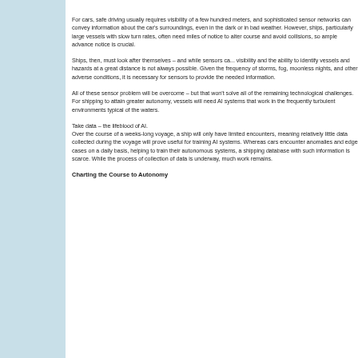For cars, safe driving usually requires visibility of a few hundred meters, and sophisticated sensor networks can convey information about the car's surroundings, even in the dark or in bad weather. However, ships, particularly large vessels with slow turn rates, often need miles of notice to alter course and avoid collisions, so ample advance notice is crucial.
Ships, then, must look after themselves – and while sensors can help, they are limited in their visibility and the ability to identify vessels and hazards at a great distance is not always possible. Given the frequency of storms, fog, moonless nights, and other adverse conditions, it is necessary for sensors to provide the needed information.
All of these sensor problem will be overcome – but that won't solve all of the remaining technological challenges.
For shipping to attain greater autonomy, vessels will need AI systems that work in the frequently turbulent environments typical of the waters.
Take data – the lifeblood of AI.
Over the course of a weeks-long voyage, a ship will only have limited encounters, meaning relatively little data collected during the voyage will prove useful for training AI systems. Whereas cars encounter anomalies and edge cases on a daily basis, helping to train their autonomous systems, a shipping database with such information is scarce. While the process of collection of data is underway, much work remains.
Charting the Course to Autonomy